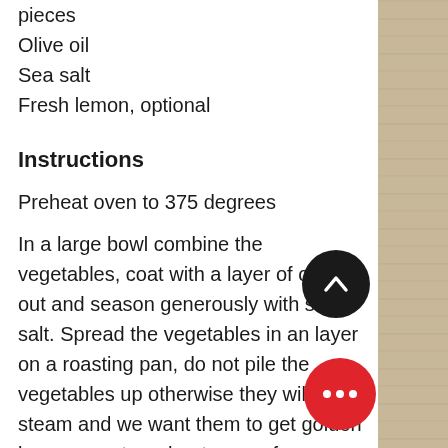pieces
Olive oil
Sea salt
Fresh lemon, optional
Instructions
Preheat oven to 375 degrees
In a large bowl combine the vegetables, coat with a layer of olive out and season generously with sea salt. Spread the vegetables in an layer on a roasting pan, do not pile the vegetables up otherwise they will steam and we want them to get golden brown; use two sheet pans of necessary.